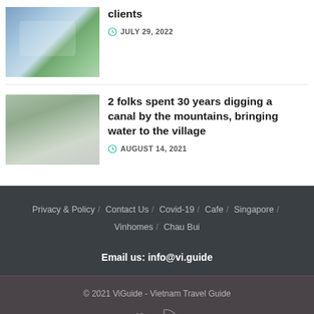[Figure (photo): Thumbnail image of a group of people around a table/display, top article]
clients
JULY 29, 2022
[Figure (photo): Thumbnail image showing people working outdoors/digging near mountains]
2 folks spent 30 years digging a canal by the mountains, bringing water to the village
AUGUST 14, 2021
Privacy & Policy / Contact Us / Covid-19 / Cafe / Singapore / Vinhomes / Chau Bui
Email us: info@vi.guide
© 2021 ViGuide - Vietnam Travel Guide